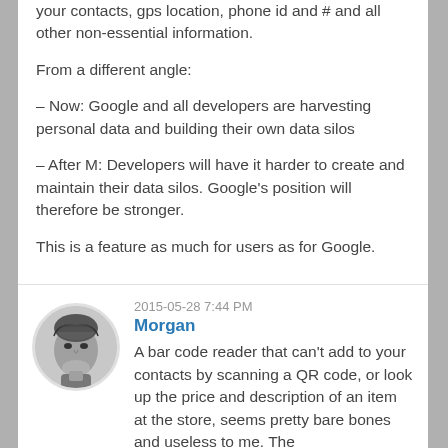your contacts, gps location, phone id and # and all other non-essential information.
From a different angle:
– Now: Google and all developers are harvesting personal data and building their own data silos
– After M: Developers will have it harder to create and maintain their data silos. Google's position will therefore be stronger.
This is a feature as much for users as for Google.
2015-05-28 7:44 PM
Morgan
[Figure (photo): Black and white portrait photo of a man named Morgan]
A bar code reader that can't add to your contacts by scanning a QR code, or look up the price and description of an item at the store, seems pretty bare bones and useless to me. The